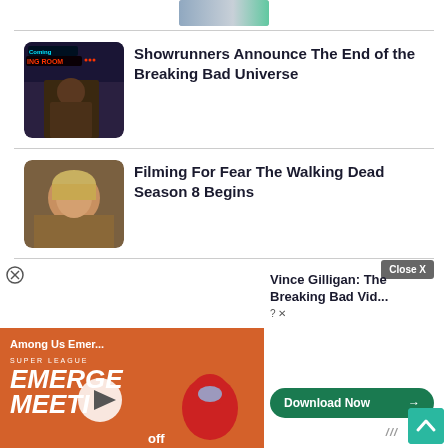[Figure (photo): Partial image of a scene cut off at the top]
Showrunners Announce The End of the Breaking Bad Universe
[Figure (photo): Scene from Better Call Saul with neon signs]
Filming For Fear The Walking Dead Season 8 Begins
[Figure (photo): Close-up of a blonde woman's face]
Vince Gilligan: The Breaking Bad...
[Figure (screenshot): Among Us Emergency Meeting video thumbnail with play button]
...off
Download Now
Close X